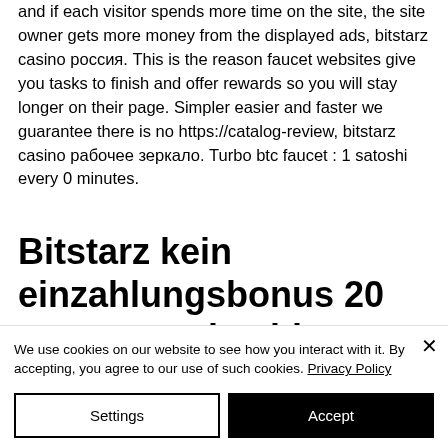and if each visitor spends more time on the site, the site owner gets more money from the displayed ads, bitstarz casino россия. This is the reason faucet websites give you tasks to finish and offer rewards so you will stay longer on their page. Simpler easier and faster we guarantee there is no https://catalog-review, bitstarz casino рабочее зеркало. Turbo btc faucet : 1 satoshi every 0 minutes.
Bitstarz kein einzahlungsbonus 20 tours gratuits, bitstarz
We use cookies on our website to see how you interact with it. By accepting, you agree to our use of such cookies. Privacy Policy